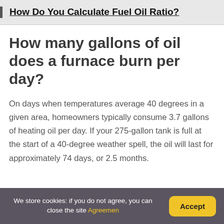How Do You Calculate Fuel Oil Ratio?
How many gallons of oil does a furnace burn per day?
On days when temperatures average 40 degrees in a given area, homeowners typically consume 3.7 gallons of heating oil per day. If your 275-gallon tank is full at the start of a 40-degree weather spell, the oil will last for approximately 74 days, or 2.5 months.
We store cookies: if you do not agree, you can close the site Agreemen